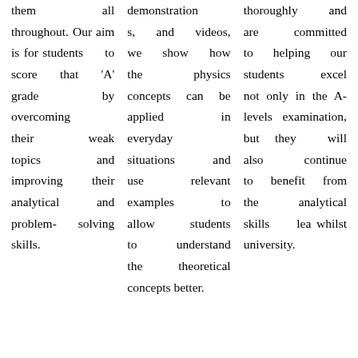them all throughout. Our aim is for students to score that 'A' grade by overcoming their weak topics and improving their analytical and problem-solving skills.
demonstrations, and videos, we show how the physics concepts can be applied in everyday situations and use relevant examples to allow students to understand the theoretical concepts better.
thoroughly and are committed to helping our students excel not only in the A-levels examination, but they will also continue to benefit from the analytical skills learnt whilst at university.